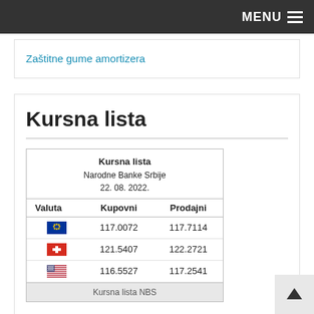MENU
Zaštitne gume amortizera
Kursna lista
| Valuta | Kupovni | Prodajni |
| --- | --- | --- |
| [EU flag] | 117.0072 | 117.7114 |
| [CH flag] | 121.5407 | 122.2721 |
| [US flag] | 116.5527 | 117.2541 |
Kursna lista NBS